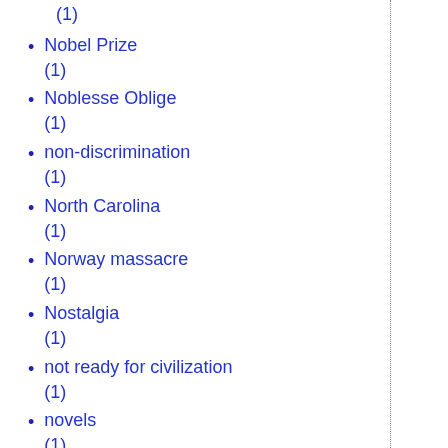(1)
Nobel Prize (1)
Noblesse Oblige (1)
non-discrimination (1)
North Carolina (1)
Norway massacre (1)
Nostalgia (1)
not ready for civilization (1)
novels (1)